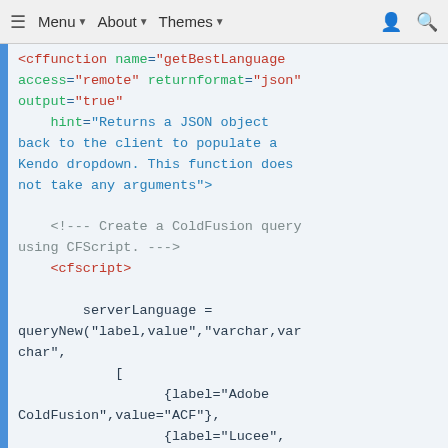≡  Menu ▾  About ▾  Themes ▾  👤  🔍
<cffunction name="getBestLanguage" access="remote" returnformat="json" output="true"
    hint="Returns a JSON object back to the client to populate a Kendo dropdown. This function does not take any arguments">

    <!--- Create a ColdFusion query using CFScript. --->
    <cfscript>

        serverLanguage = queryNew("label,value","varchar,varchar",
            [
                    {label="Adobe ColdFusion",value="ACF"},
                    {label="Lucee",